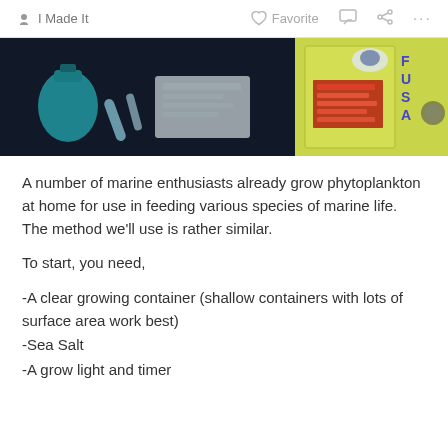✋ I Made It   ♡ Favorite   💬   ⎘   ...
[Figure (photo): Left: photo of lab/science supplies on dark background including a blue bottle, test tubes, and papers. Right: partial view of a product label on yellow-green background with illustrated character and red text.]
A number of marine enthusiasts already grow phytoplankton at home for use in feeding various species of marine life. The method we'll use is rather similar.
To start, you need,
-A clear growing container (shallow containers with lots of surface area work best)
-Sea Salt
-A grow light and timer